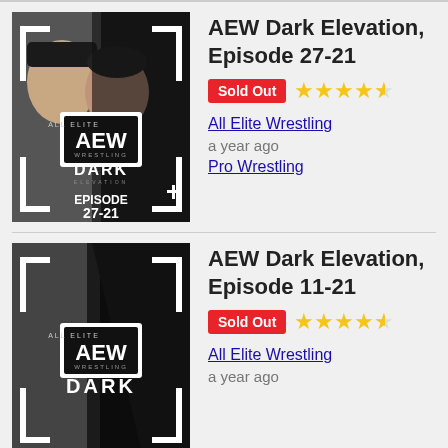[Figure (photo): AEW Dark Elevation Episode 27-21 thumbnail showing two female wrestlers and AEW Wrestling Dark Elevation logo]
AEW Dark Elevation, Episode 27-21
Sold Out ★★★★½
All Elite Wrestling
a year ago
Pro Wrestling
[Figure (photo): AEW Dark Elevation Episode 11-21 thumbnail showing AEW Wrestling Dark logo]
AEW Dark Elevation, Episode 11-21
Sold Out ★★★★½
All Elite Wrestling
a year ago